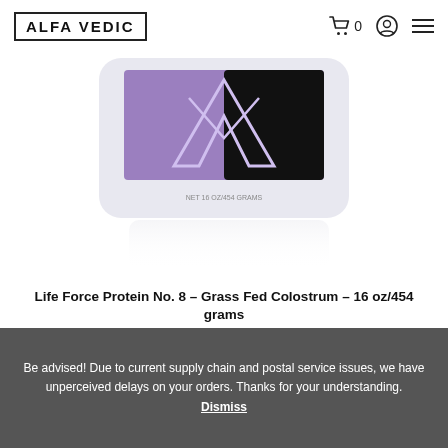ALFA VEDIC
[Figure (photo): White cylindrical container for Alfa Vedic Life Force Protein No. 8 Grass Fed Colostrum, featuring a purple and black label with the AV logo. NET 16 OZ/454 GRAMS text visible on container.]
Life Force Protein No. 8 – Grass Fed Colostrum – 16 oz/454 grams
$93.00
ADD TO CART
Be advised! Due to current supply chain and postal service issues, we have unperceived delays on your orders. Thanks for your understanding. Dismiss